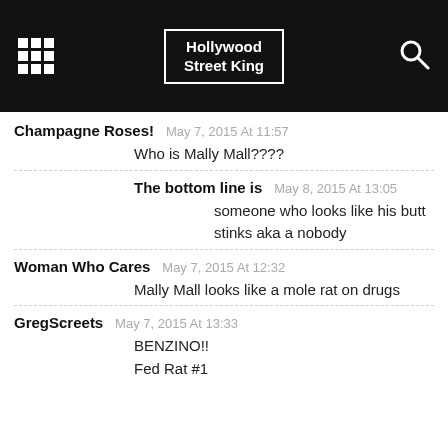Hollywood Street King
Champagne Roses! May 7, 2015 At 11:57
Who is Mally Mall????
The bottom line is May 8, 2015 At 13:05
someone who looks like his butt stinks aka a nobody
Woman Who Cares May 7, 2015 At 12:32
Mally Mall looks like a mole rat on drugs
GregScreets May 7, 2015 At 13:33
BENZINO!!
Fed Rat #1